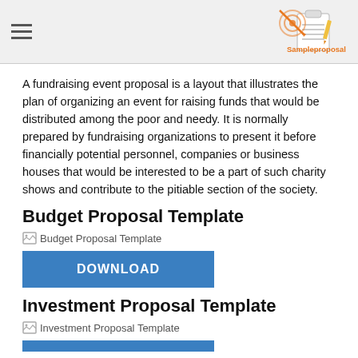Sampleproposal (logo with hamburger menu)
A fundraising event proposal is a layout that illustrates the plan of organizing an event for raising funds that would be distributed among the poor and needy. It is normally prepared by fundraising organizations to present it before financially potential personnel, companies or business houses that would be interested to be a part of such charity shows and contribute to the pitiable section of the society.
Budget Proposal Template
[Figure (other): Broken image placeholder labeled Budget Proposal Template]
DOWNLOAD
Investment Proposal Template
[Figure (other): Broken image placeholder labeled Investment Proposal Template]